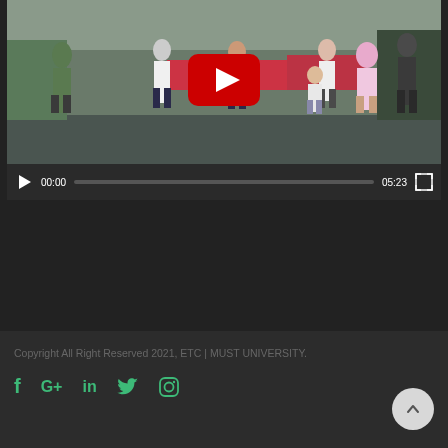[Figure (screenshot): YouTube video player showing people walking in what appears to be a university building. The video is paused at 00:00 with total duration 05:23. A large YouTube play button overlay is visible in the center of the thumbnail.]
Copyright All Right Reserved 2021, ETC | MUST UNIVERSITY.